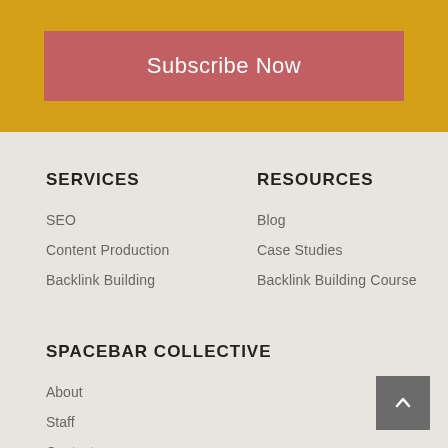Subscribe Now
SERVICES
SEO
Content Production
Backlink Building
RESOURCES
Blog
Case Studies
Backlink Building Course
SPACEBAR COLLECTIVE
About
Staff
Contact